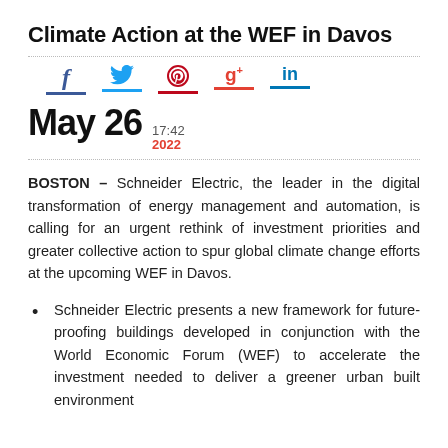Climate Action at the WEF in Davos
[Figure (infographic): Social media share icons: Facebook (f), Twitter (bird), Pinterest (p), Google+ (g+), LinkedIn (in), each with a colored underline bar.]
May 26  17:42  2022
BOSTON – Schneider Electric, the leader in the digital transformation of energy management and automation, is calling for an urgent rethink of investment priorities and greater collective action to spur global climate change efforts at the upcoming WEF in Davos.
Schneider Electric presents a new framework for future-proofing buildings developed in conjunction with the World Economic Forum (WEF) to accelerate the investment needed to deliver a greener urban built environment